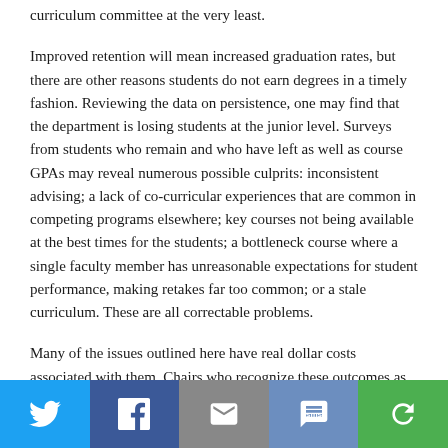curriculum committee at the very least.
Improved retention will mean increased graduation rates, but there are other reasons students do not earn degrees in a timely fashion. Reviewing the data on persistence, one may find that the department is losing students at the junior level. Surveys from students who remain and who have left as well as course GPAs may reveal numerous possible culprits: inconsistent advising; a lack of co-curricular experiences that are common in competing programs elsewhere; key courses not being available at the best times for the students; a bottleneck course where a single faculty member has unreasonable expectations for student performance, making retakes far too common; or a stale curriculum. These are all correctable problems.
Many of the issues outlined here have real dollar costs associated with them. Chairs who recognize these outcomes as avoidable negatives can act to satisfy external critics while improving the experience for their students and elevating their reputations as well as those of their departments and institutions.
[Figure (infographic): Social share bar with icons for Twitter (blue), Facebook (dark blue), Email (grey), SMS (medium blue), and Share (green)]